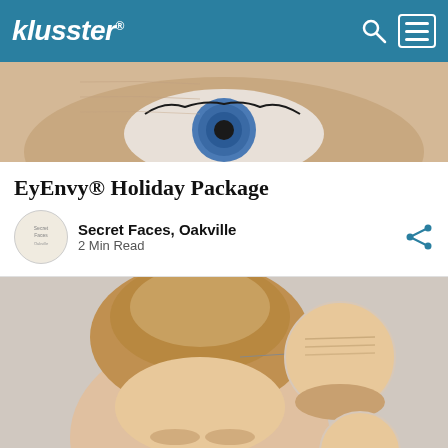klusster
[Figure (photo): Close-up of a human eye with wrinkled skin around it]
EyEnvy® Holiday Package
Secret Faces, Oakville
2 Min Read
[Figure (photo): Woman with hair up in a bun, before/after closeup of forehead wrinkles in circular inset]
Social media icons: Facebook, LinkedIn, Twitter, Pinterest, Link